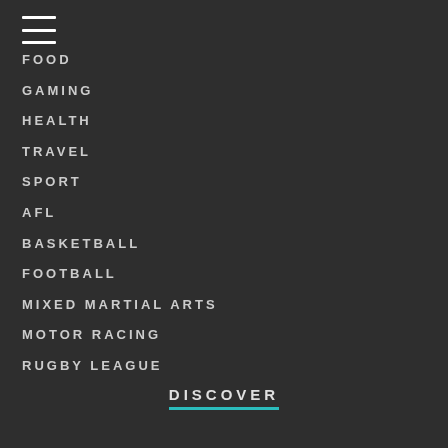[Figure (other): Hamburger menu icon with three horizontal white lines]
FOOD
GAMING
HEALTH
TRAVEL
SPORT
AFL
BASKETBALL
FOOTBALL
MIXED MARTIAL ARTS
MOTOR RACING
RUGBY LEAGUE
DISCOVER